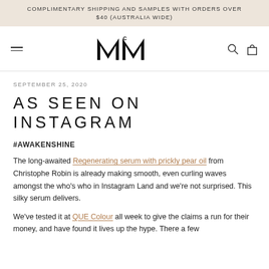COMPLIMENTARY SHIPPING AND SAMPLES WITH ORDERS OVER $40 (AUSTRALIA WIDE)
[Figure (logo): MCM mountain logo mark with stylized M and small C above]
SEPTEMBER 25, 2020
AS SEEN ON INSTAGRAM
#AWAKENSHINE
The long-awaited Regenerating serum with prickly pear oil from Christophe Robin is already making smooth, even curling waves amongst the who's who in Instagram Land and we're not surprised. This silky serum delivers.
We've tested it at QUE Colour all week to give the claims a run for their money, and have found it lives up the hype. There a few